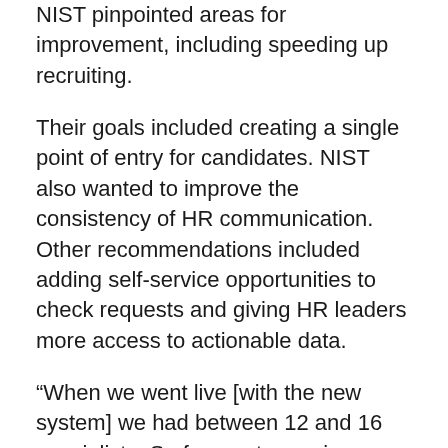NIST pinpointed areas for improvement, including speeding up recruiting.
Their goals included creating a single point of entry for candidates. NIST also wanted to improve the consistency of HR communication. Other recommendations included adding self-service opportunities to check requests and giving HR leaders more access to actionable data.
“When we went live [with the new system] we had between 12 and 16 specialists. So for you to receive inconsistent information – it definitely could happen,” said Ventura. NIST needed a solution to automate and track workflows. IT also needed better visibility into total workload and trends.
NIST’s HR team selected ServiceNow in 2015. The first priority – recruitment, which was “huge and complex,” said Ventura. But, for NIST, it was the right starting